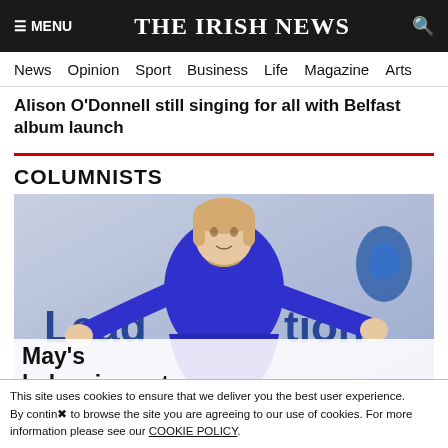≡ MENU   THE IRISH NEWS   🔍
News  Opinion  Sport  Business  Life  Magazine  Arts
Alison O'Donnell still singing for all with Belfast album launch
COLUMNISTS
[Figure (photo): A woman in a blue top gesturing with both arms outstretched in front of a banner reading 'Leadership Election']
May's balancing act
This site uses cookies to ensure that we deliver you the best user experience. By continuing to browse the site you are agreeing to our use of cookies. For more information please see our COOKIE POLICY.